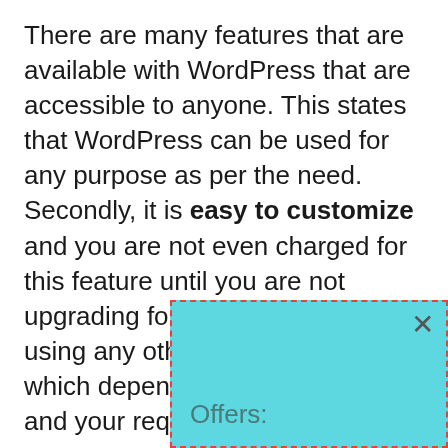There are many features that are available with WordPress that are accessible to anyone. This states that WordPress can be used for any purpose as per the need. Secondly, it is easy to customize and you are not even charged for this feature until you are not upgrading for the premium plan or using any other premium feature which depends entirely on you and your requirements.

You can add modifications to your site and also you are free to upgrade at any time. Yo[...] site, add[...]
[Figure (other): A popup overlay box with cyan/teal background and red dashed border, containing an 'x' close button and 'Offers:' label text]